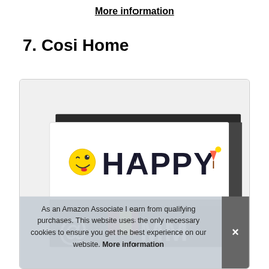More information
7. Cosi Home
[Figure (photo): A light box sign displaying 'HAPPY' with emoji icons, and below it partial letters. A cookie consent banner overlays the bottom portion of the image.]
As an Amazon Associate I earn from qualifying purchases. This website uses the only necessary cookies to ensure you get the best experience on our website. More information